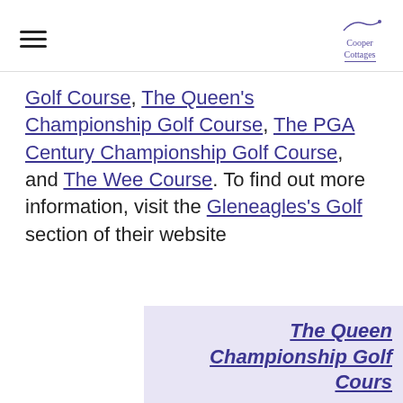Cooper Cottages
Golf Course, The Queen's Championship Golf Course, The PGA Century Championship Golf Course, and The Wee Course. To find out more information, visit the Gleneagles's Golf section of their website
The Queen Championship Golf Cours